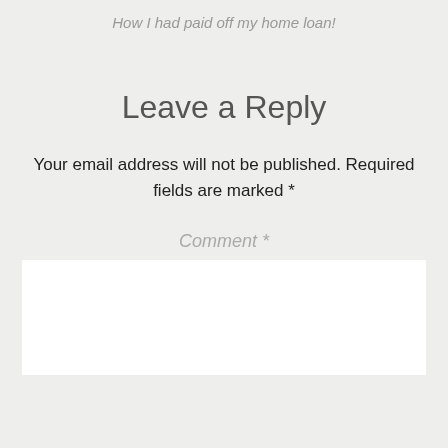How I had paid off my home loan!
Leave a Reply
Your email address will not be published. Required fields are marked *
Comment *
[Figure (other): White comment text input area]